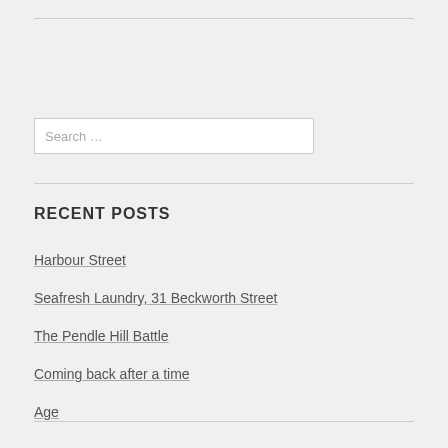[Figure (other): Search input box with placeholder text 'Search …']
RECENT POSTS
Harbour Street
Seafresh Laundry, 31 Beckworth Street
The Pendle Hill Battle
Coming back after a time
Age